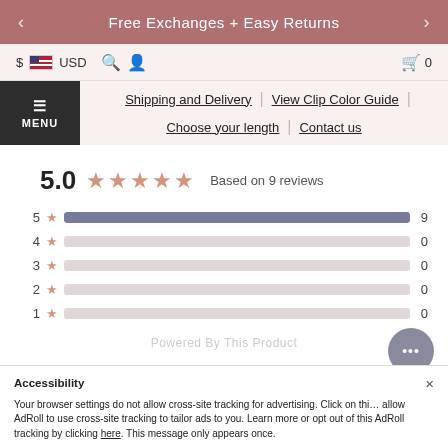Free Exchanges + Easy Returns
$ USD 🔍 👤 🛒 0
MENU | Shipping and Delivery | View Clip Color Guide | Choose your length | Contact us
5.0 ★★★★★ Based on 9 reviews
[Figure (bar-chart): Rating distribution]
Accessibility × Your browser settings do not allow cross-site tracking for advertising. Click on this to allow AdRoll to use cross-site tracking to tailor ads to you. Learn more or opt out of this AdRoll tracking by clicking here. This message only appears once.